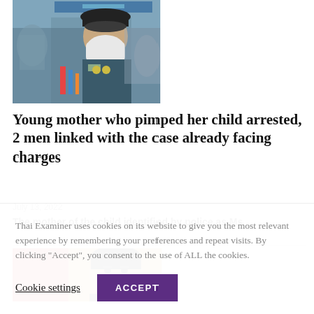[Figure (photo): Police officer wearing a white face mask speaking at a press conference with microphones, other people visible in background]
Young mother who pimped her child arrested, 2 men linked with the case already facing charges
July 13, 2022
The mother of the child identified by police as Ms
[Figure (photo): Partial photo showing a man in front of a red background]
Thai Examiner uses cookies on its website to give you the most relevant experience by remembering your preferences and repeat visits. By clicking "Accept", you consent to the use of ALL the cookies.